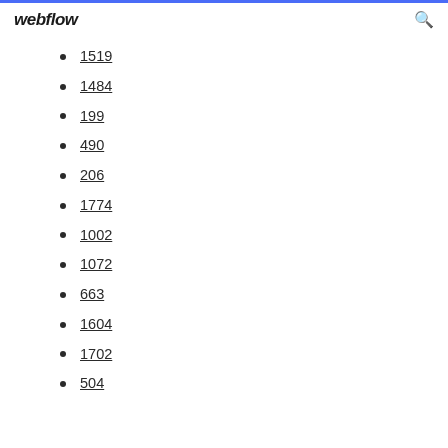webflow
1519
1484
199
490
206
1774
1002
1072
663
1604
1702
504